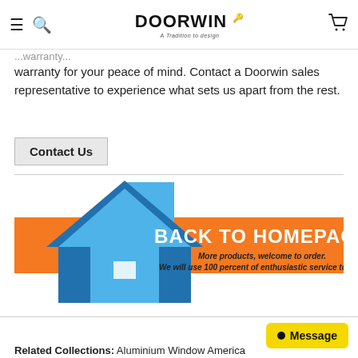DOORWIN - menu, search, cart navigation bar
warranty for your peace of mind. Contact a Doorwin sales representative to experience what sets us apart from the rest.
Contact Us
[Figure (infographic): Blue house arrow pointing upward on orange banner background with text BACK TO HOMEPAGE and subtitle: More products, welcome to order. We will use 100 percent of enthusiastic service to you.]
Message
Related Collections: Aluminium Window American Standard